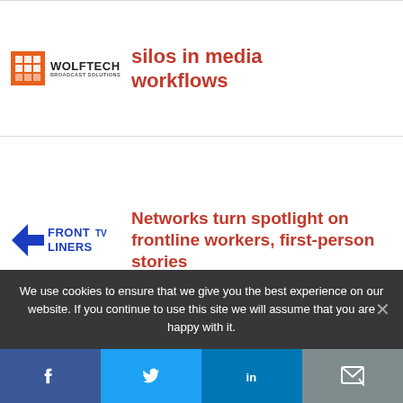[Figure (logo): Wolftech Broadcast Solutions logo with orange grid icon]
silos in media workflows
[Figure (logo): Front Liners TV logo in blue]
Networks turn spotlight on frontline workers, first-person stories
[Figure (map): Population Coverage at YE '21 map thumbnail]
Broadcasters eye datacasting for early
We use cookies to ensure that we give you the best experience on our website. If you continue to use this site we will assume that you are happy with it.